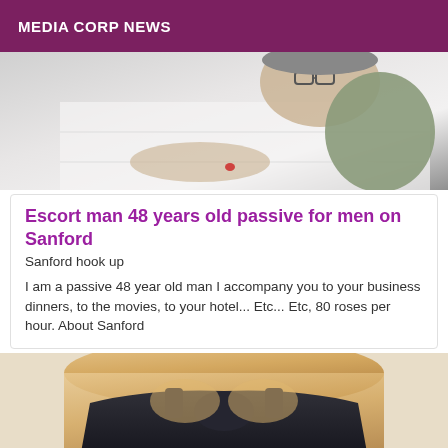MEDIA CORP NEWS
[Figure (photo): Person with glasses seen from above, wearing a gray/green top, near a white surface]
Escort man 48 years old passive for men on Sanford
Sanford hook up
I am a passive 48 year old man I accompany you to your business dinners, to the movies, to your hotel... Etc... Etc, 80 roses per hour. About Sanford
[Figure (photo): Person in a dark sports bra top, torso/chest visible]